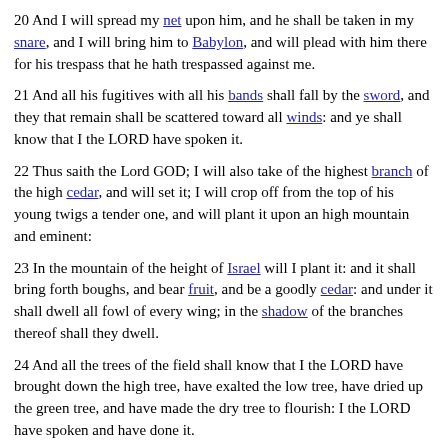20 And I will spread my net upon him, and he shall be taken in my snare, and I will bring him to Babylon, and will plead with him there for his trespass that he hath trespassed against me.
21 And all his fugitives with all his bands shall fall by the sword, and they that remain shall be scattered toward all winds: and ye shall know that I the LORD have spoken it.
22 Thus saith the Lord GOD; I will also take of the highest branch of the high cedar, and will set it; I will crop off from the top of his young twigs a tender one, and will plant it upon an high mountain and eminent:
23 In the mountain of the height of Israel will I plant it: and it shall bring forth boughs, and bear fruit, and be a goodly cedar: and under it shall dwell all fowl of every wing; in the shadow of the branches thereof shall they dwell.
24 And all the trees of the field shall know that I the LORD have brought down the high tree, have exalted the low tree, have dried up the green tree, and have made the dry tree to flourish: I the LORD have spoken and have done it.
Next: Ezekiel Chapter 18